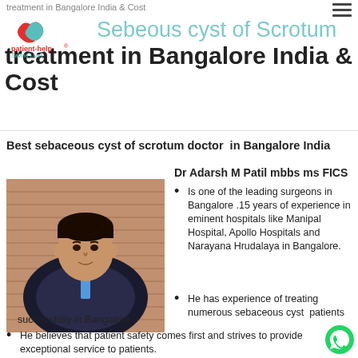treatment in Bangalore India & Cost
Sebaceous cyst of Scrotum treatment in Bangalore India & Cost
Best sebaceous cyst of scrotum doctor  in Bangalore India
[Figure (photo): Portrait photo of Dr Adarsh M Patil, a surgeon in a dark suit, with a brick wall background]
Dr Adarsh M Patil mbbs ms FICS
Is one of the leading surgeons in Bangalore .15 years of experience in eminent hospitals like Manipal Hospital, Apollo Hospitals and Narayana Hrudalaya in Bangalore.
He has experience of treating numerous sebaceous cyst  patients successfully in Bangalore .
He believes that patient safety comes first and strives to provide exceptional service to patients.